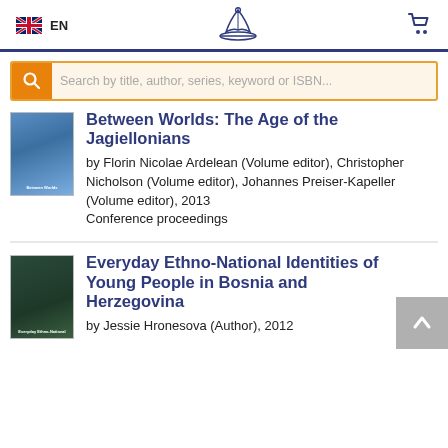EN
Search by title, author, series, keyword or ISBN...
Between Worlds: The Age of the Jagiellonians
by Florin Nicolae Ardelean (Volume editor), Christopher Nicholson (Volume editor), Johannes Preiser-Kapeller (Volume editor), 2013
Conference proceedings
Everyday Ethno-National Identities of Young People in Bosnia and Herzegovina
by Jessie Hronesova (Author), 2012